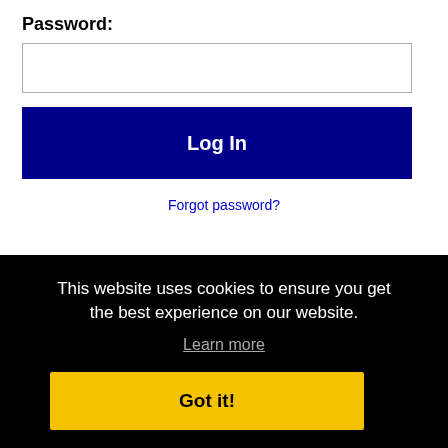Password:
[Figure (screenshot): Password input text field, empty, with light border]
[Figure (screenshot): Log In button, dark navy blue background with white bold text]
Forgot password?
[Figure (logo): Facebook logo icon (blue square with white f) and LinkedIn logo side by side]
CA on
This website uses cookies to ensure you get the best experience on our website.
Learn more
Got it!